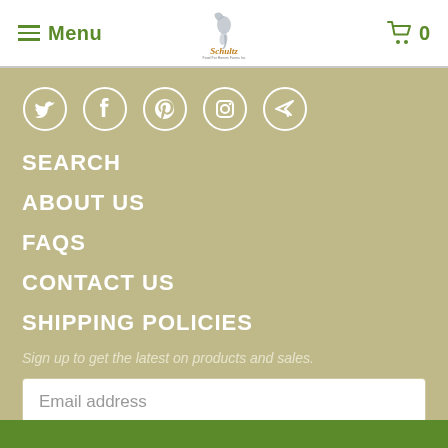Menu | Schultz (logo) | 0
[Figure (illustration): Social media icons in circles: Twitter, Facebook, Pinterest, Instagram, Send/Telegram]
SEARCH
ABOUT US
FAQS
CONTACT US
SHIPPING POLICIES
Sign up to get the latest on products and sales.
Email address